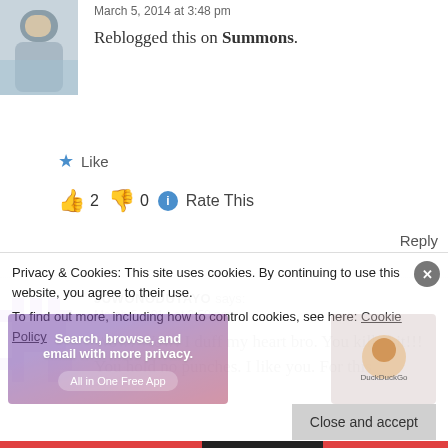March 5, 2014 at 3:48 pm
Reblogged this on Summons.
Like
👍 2  👎 0  ℹ Rate This
Reply
JUWONODUTAYO says:
March 5, 2014 at 3:50 pm
Wow! Wow! I duff my heart bro. You killed it!!! You hold no punches. I like you. For this
Privacy & Cookies: This site uses cookies. By continuing to use this website, you agree to their use.
To find out more, including how to control cookies, see here: Cookie Policy
Close and accept